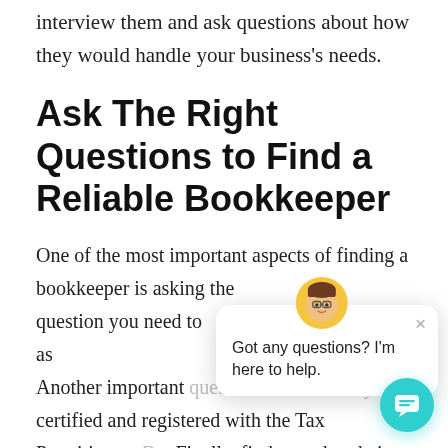interview them and ask questions about how they would handle your business's needs.
Ask The Right Questions to Find a Reliable Bookkeeper
One of the most important aspects of finding a bookkeeper is asking the question you need to as have. Another important questions whether they are certified and registered with the Tax Practitioners B Finally, find out what their pricing structure is by in
[Figure (screenshot): Chat widget popup with cartoon avatar showing message 'Got any questions? I'm here to help.' with a close button (×) and teal circular chat button in bottom right corner.]